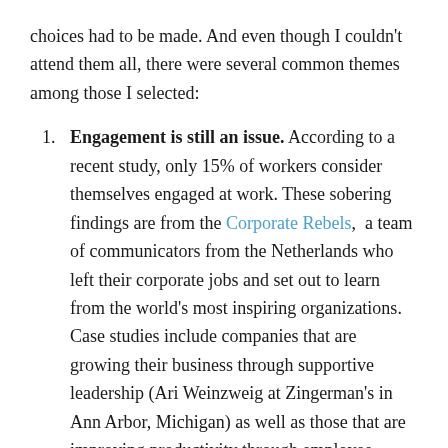choices had to be made. And even though I couldn't attend them all, there were several common themes among those I selected:
Engagement is still an issue. According to a recent study, only 15% of workers consider themselves engaged at work. These sobering findings are from the Corporate Rebels, a team of communicators from the Netherlands who left their corporate jobs and set out to learn from the world's most inspiring organizations. Case studies include companies that are growing their business through supportive leadership (Ari Weinzweig at Zingerman's in Ann Arbor, Michigan) as well as those that are improving productivity through employee freedom and trust (Frank Van Massenhove at Belgium's Federal Office of Social Affairs).